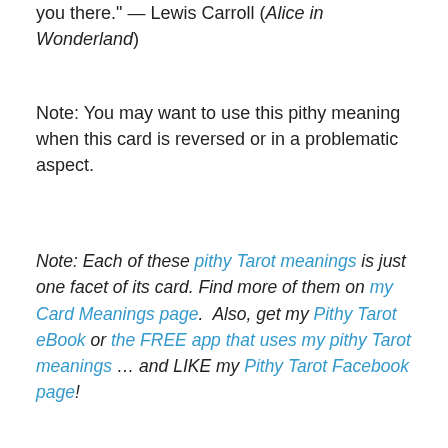you there." — Lewis Carroll (Alice in Wonderland)
Note: You may want to use this pithy meaning when this card is reversed or in a problematic aspect.
Note: Each of these pithy Tarot meanings is just one facet of its card. Find more of them on my Card Meanings page.  Also, get my Pithy Tarot eBook or the FREE app that uses my pithy Tarot meanings … and LIKE my Pithy Tarot Facebook page!